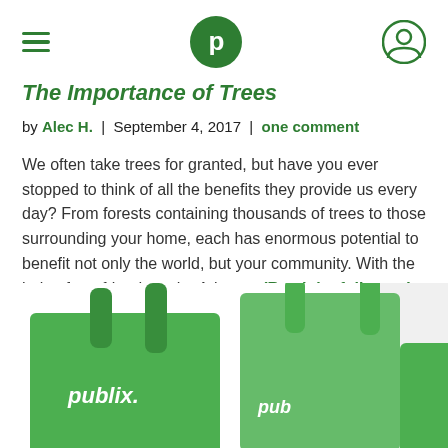Publix navigation header with hamburger menu, Publix logo, and user icon
The Importance of Trees
by Alec H.  |  September 4, 2017  |  one comment
We often take trees for granted, but have you ever stopped to think of all the benefits they provide us every day? From forests containing thousands of trees to those surrounding your home, each has enormous potential to benefit not only the world, but your community. With the help of our friends at the Arbor … (Read the full story)
[Figure (photo): Green Publix reusable shopping bags displayed against white background]